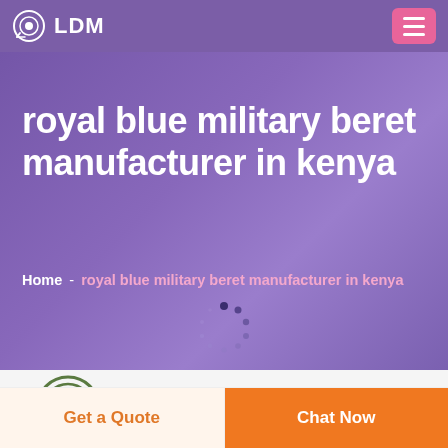LDM
royal blue military beret manufacturer in kenya
Home  -  royal blue military beret manufacturer in kenya
[Figure (logo): DEEKON circular logo with D in center, concentric circles, red text DEEKON below]
[Figure (photo): Partial product image visible at bottom of content area]